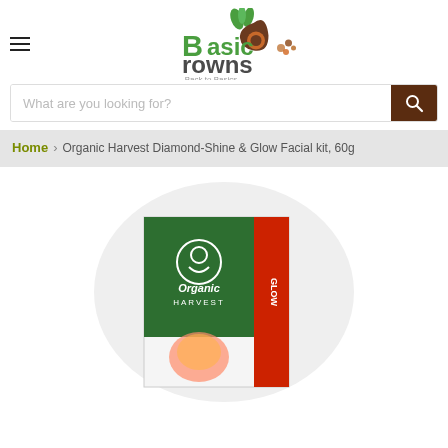[Figure (logo): Basic Browns logo with green leaves and brown seed icon, tagline 'Back to Basics']
What are you looking for?
Home > Organic Harvest Diamond-Shine & Glow Facial kit, 60g
[Figure (photo): Organic Harvest Diamond-Shine & Glow Facial kit product box with green and red packaging, Organic Harvest logo visible]